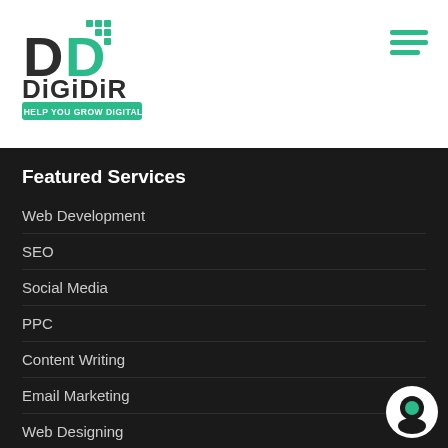[Figure (logo): DigiDir logo with stylized D letters in green and dark, text DIGIDIR and tagline WE HELP YOU GROW DIGITALLY]
Featured Services
Web Development
SEO
Social Media
PPC
Content Writing
Email Marketing
Web Designing